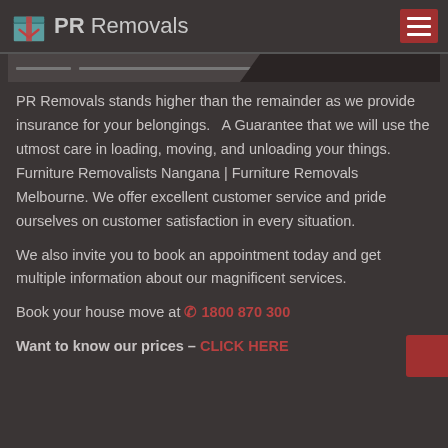PR Removals
[Figure (screenshot): Banner/hero image strip with dark overlapping diagonal shapes]
PR Removals stands higher than the remainder as we provide insurance for your belongings.   A Guarantee that we will use the utmost care in loading, moving, and unloading your things. Furniture Removalists Nangana | Furniture Removals Melbourne. We offer excellent customer service and pride ourselves on customer satisfaction in every situation.
We also invite you to book an appointment today and get multiple information about our magnificent services.
Book your house move at ☎ 1800 870 300
Want to know our prices – CLICK HERE